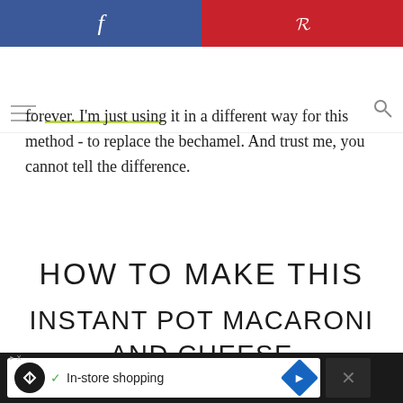[Figure (screenshot): Social sharing bar with Facebook (blue) and Pinterest (red) buttons at top of page]
[Figure (screenshot): Website navigation bar with green underline accent]
forever. I'm just using it in a different way for this method - to replace the bechamel. And trust me, you cannot tell the difference.
HOW TO MAKE THIS
INSTANT POT MACARONI AND CHEESE
[Figure (photo): Partial photo of macaroni and cheese dish, partially visible at bottom of page]
[Figure (screenshot): Advertisement bar at bottom: In-store shopping ad with navigation icon]